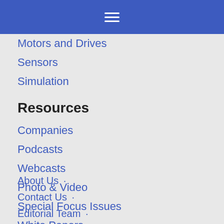≡
Motors and Drives
Sensors
Simulation
Resources
Companies
Podcasts
Webcasts
Photo & Video
Special Focus Issues
White Papers
Resources
About Us ·
Contact Us ·
Editorial Team ·